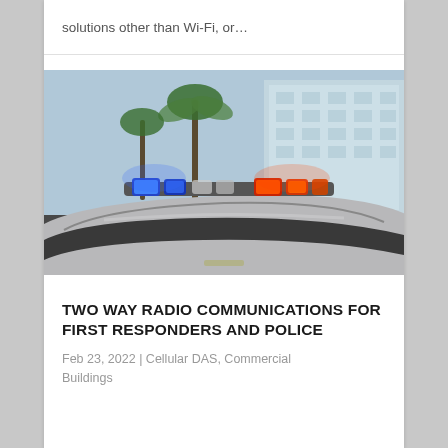solutions other than Wi-Fi, or…
[Figure (photo): Police car with blue and red emergency lights on roof, with palm trees and glass building in background]
TWO WAY RADIO COMMUNICATIONS FOR FIRST RESPONDERS AND POLICE
Feb 23, 2022 | Cellular DAS, Commercial Buildings